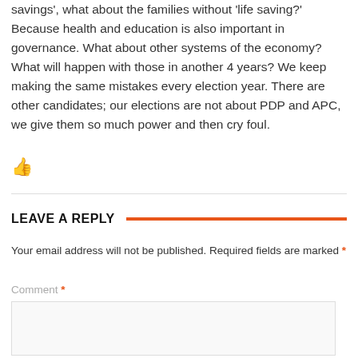savings', what about the families without 'life saving?' Because health and education is also important in governance. What about other systems of the economy? What will happen with those in another 4 years? We keep making the same mistakes every election year. There are other candidates; our elections are not about PDP and APC, we give them so much power and then cry foul.
[Figure (illustration): Orange thumbs up icon]
LEAVE A REPLY
Your email address will not be published. Required fields are marked *
Comment *